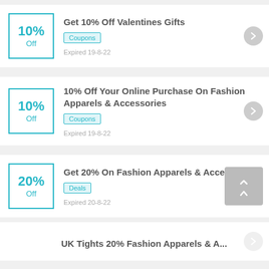Get 10% Off Valentines Gifts | Coupons | Expired 19-8-22
10% Off Your Online Purchase On Fashion Apparels & Accessories | Coupons | Expired 19-8-22
Get 20% On Fashion Apparels & Accessories | Deals | Expired 20-8-22
UK Tights  20% Fashion Apparels & A...